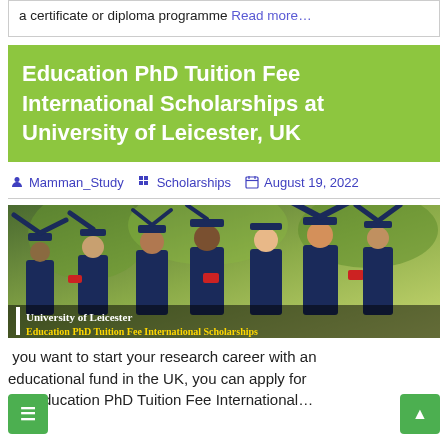a certificate or diploma programme Read more…
Education PhD Tuition Fee International Scholarships at University of Leicester, UK
Mamman_Study   Scholarships   August 19, 2022
[Figure (photo): Group of graduates in navy blue gowns and caps celebrating outdoors, holding diplomas. Overlay text: 'University of Leicester' and 'Education PhD Tuition Fee International Scholarships']
you want to start your research career with an educational fund in the UK, you can apply for the Education PhD Tuition Fee International…